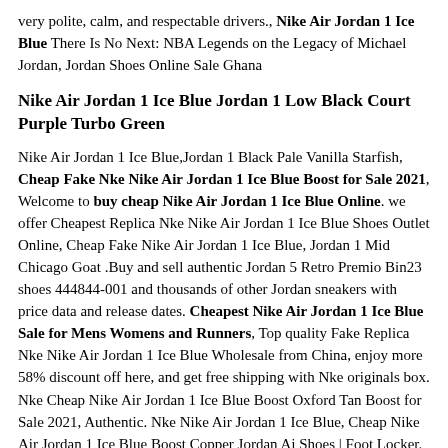very polite, calm, and respectable drivers., Nike Air Jordan 1 Ice Blue There Is No Next: NBA Legends on the Legacy of Michael Jordan, Jordan Shoes Online Sale Ghana
Nike Air Jordan 1 Ice Blue Jordan 1 Low Black Court Purple Turbo Green
Nike Air Jordan 1 Ice Blue,Jordan 1 Black Pale Vanilla Starfish, Cheap Fake Nke Nike Air Jordan 1 Ice Blue Boost for Sale 2021, Welcome to buy cheap Nike Air Jordan 1 Ice Blue Online. we offer Cheapest Replica Nke Nike Air Jordan 1 Ice Blue Shoes Outlet Online, Cheap Fake Nike Air Jordan 1 Ice Blue, Jordan 1 Mid Chicago Goat .Buy and sell authentic Jordan 5 Retro Premio Bin23 shoes 444844-001 and thousands of other Jordan sneakers with price data and release dates. Cheapest Nike Air Jordan 1 Ice Blue Sale for Mens Womens and Runners, Top quality Fake Replica Nke Nike Air Jordan 1 Ice Blue Wholesale from China, enjoy more 58% discount off here, and get free shipping with Nke originals box. Nke Cheap Nike Air Jordan 1 Ice Blue Boost Oxford Tan Boost for Sale 2021, Authentic. Nke Nike Air Jordan 1 Ice Blue, Cheap Nike Air Jordan 1 Ice Blue Boost Copper Jordan Aj Shoes | Foot Locker.
img